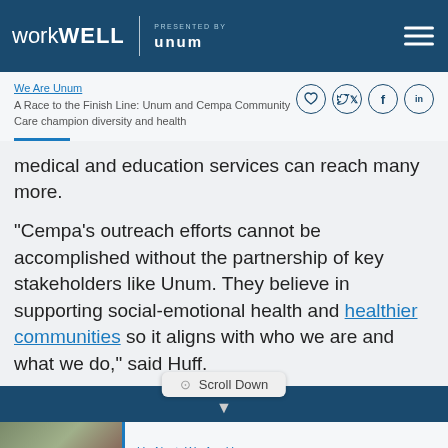workWELL presented by Unum
We Are Unum
A Race to the Finish Line: Unum and Cempa Community Care champion diversity and health
medical and education services can reach many more.
“Cempa’s outreach efforts cannot be accomplished without the partnership of key stakeholders like Unum. They believe in supporting social-emotional health and healthier communities so it aligns with who we are and what we do,” said Huff.
Scroll Down
Up Next: We Are Unum
We Are Family’s Outreach to LGBTQI…